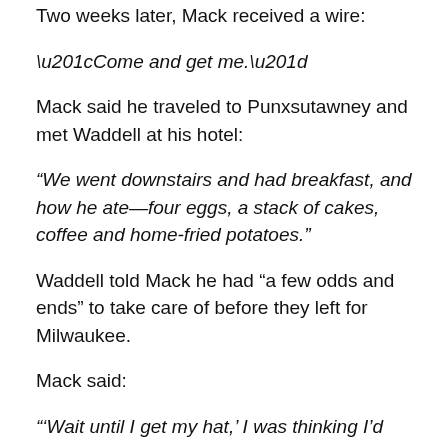Two weeks later, Mack received a wire:
“Come and get me.”
Mack said he traveled to Punxsutawney and met Waddell at his hotel:
“We went downstairs and had breakfast, and how he ate—four eggs, a stack of cakes, coffee and home-fried potatoes.”
Waddell told Mack he had “a few odds and ends” to take care of before they left for Milwaukee.
Mack said:
“‘Wait until I get my hat,’ I was thinking I’d better not let him out of my sight.
“We walked down the main street and into a dry good